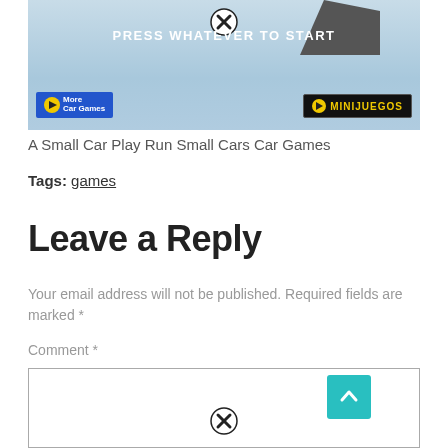[Figure (screenshot): Game banner showing 'PRESS WHATEVER TO START' with a close button, car game screenshot background, 'More Car Games' button on left and 'MINIJUEGOS' logo on right]
A Small Car Play Run Small Cars Car Games
Tags: games
Leave a Reply
Your email address will not be published. Required fields are marked *
Comment *